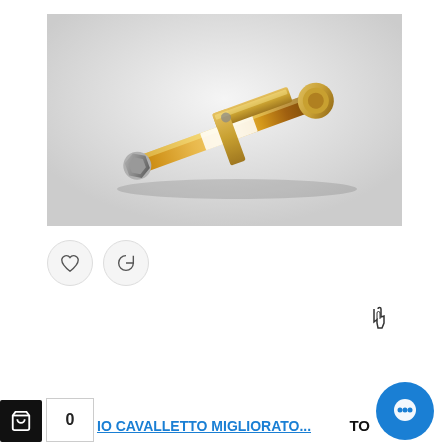[Figure (photo): Product photo of a golden/copper-colored bolt with nut, washer, and bracket on a white/light grey background]
UDIO CAVALLETTO MIGLIORATO...
TO